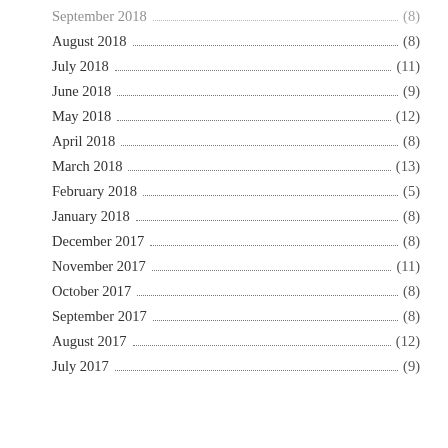September 2018 ... (8)
August 2018 ... (8)
July 2018 ... (11)
June 2018 ... (9)
May 2018 ... (12)
April 2018 ... (8)
March 2018 ... (13)
February 2018 ... (5)
January 2018 ... (8)
December 2017 ... (8)
November 2017 ... (11)
October 2017 ... (8)
September 2017 ... (8)
August 2017 ... (12)
July 2017 ... (9)